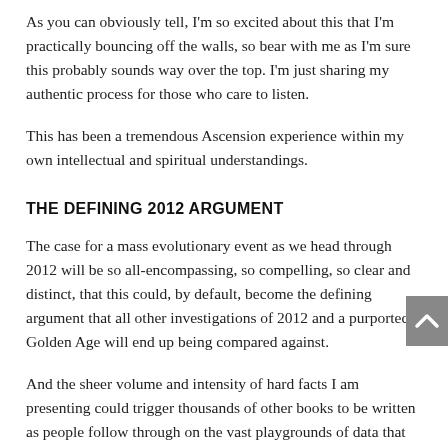As you can obviously tell, I'm so excited about this that I'm practically bouncing off the walls, so bear with me as I'm sure this probably sounds way over the top. I'm just sharing my authentic process for those who care to listen.
This has been a tremendous Ascension experience within my own intellectual and spiritual understandings.
THE DEFINING 2012 ARGUMENT
The case for a mass evolutionary event as we head through 2012 will be so all-encompassing, so compelling, so clear and distinct, that this could, by default, become the defining argument that all other investigations of 2012 and a purported Golden Age will end up being compared against.
And the sheer volume and intensity of hard facts I am presenting could trigger thousands of other books to be written as people follow through on the vast playgrounds of data that these initial portals will open themselves to